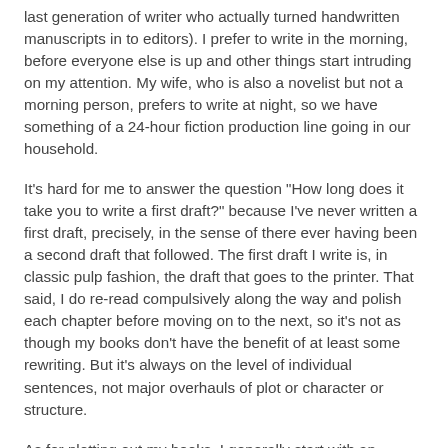last generation of writer who actually turned handwritten manuscripts in to editors). I prefer to write in the morning, before everyone else is up and other things start intruding on my attention. My wife, who is also a novelist but not a morning person, prefers to write at night, so we have something of a 24-hour fiction production line going in our household.
It's hard for me to answer the question "How long does it take you to write a first draft?" because I've never written a first draft, precisely, in the sense of there ever having been a second draft that followed. The first draft I write is, in classic pulp fashion, the draft that goes to the printer. That said, I do re-read compulsively along the way and polish each chapter before moving on to the next, so it's not as though my books don't have the benefit of at least some rewriting. But it's always on the level of individual sentences, not major overhauls of plot or character or structure.
As for plotting out my books, I generally start with an opening scene that appeals to me and then wing it from there, although in the case of SONGS OF INNOCENCE I did know